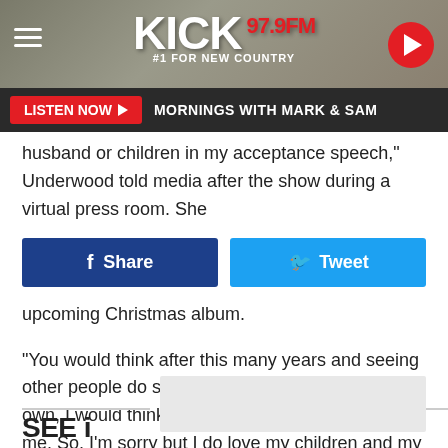KICK FM 97.9 #1 FOR NEW COUNTRY — MORNINGS WITH MARK & SAM
husband or children in my acceptance speech," Underwood told media after the show during a virtual press room. She
upcoming Christmas album.
"You would think after this many years and seeing other people do speeches and giving some of my own, I would think of people that are important to me. So, I'm sorry but I do love my children and my husband."
You can watch Underwood's full speech below.